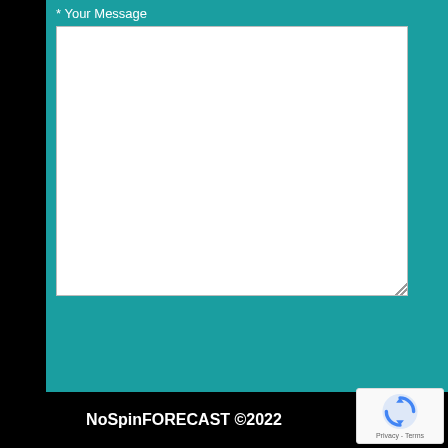* Your Message
[Figure (screenshot): Empty white textarea input field for composing a message]
Send
NoSpinFORECAST ©2022
[Figure (logo): reCAPTCHA badge with circular arrow icon and Privacy - Terms links]